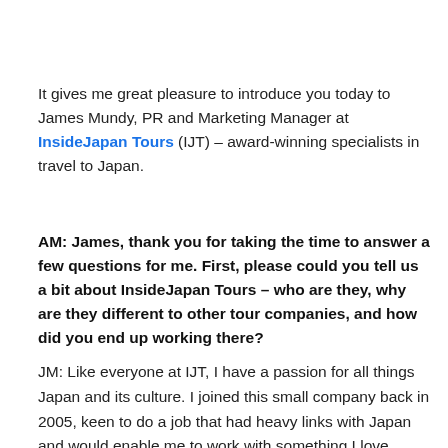It gives me great pleasure to introduce you today to James Mundy, PR and Marketing Manager at InsideJapan Tours (IJT) – award-winning specialists in travel to Japan.
AM: James, thank you for taking the time to answer a few questions for me. First, please could you tell us a bit about InsideJapan Tours – who are they, why are they different to other tour companies, and how did you end up working there?
JM: Like everyone at IJT, I have a passion for all things Japan and its culture. I joined this small company back in 2005, keen to do a job that had heavy links with Japan and would enable me to work with something I love.